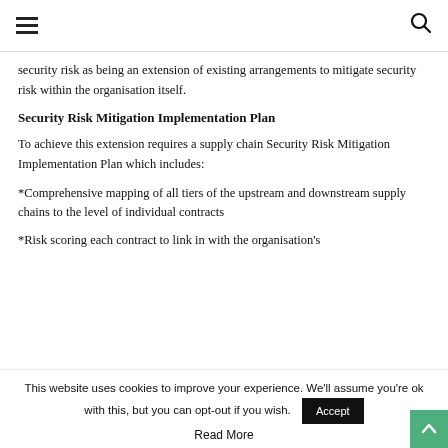☰  🔍
security risk as being an extension of existing arrangements to mitigate security risk within the organisation itself.
Security Risk Mitigation Implementation Plan
To achieve this extension requires a supply chain Security Risk Mitigation Implementation Plan which includes:
*Comprehensive mapping of all tiers of the upstream and downstream supply chains to the level of individual contracts
*Risk scoring each contract to link in with the organisation's
This website uses cookies to improve your experience. We'll assume you're ok with this, but you can opt-out if you wish.
Read More